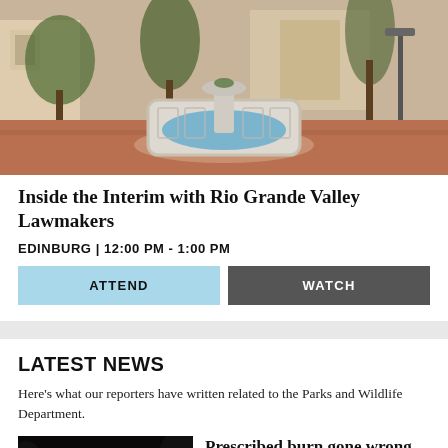[Figure (photo): Outdoor plaza with a white circular fountain in the center, terracotta/brick-colored ground, and trees/buildings in the background]
Inside the Interim with Rio Grande Valley Lawmakers
EDINBURG | 12:00 PM - 1:00 PM
ATTEND
WATCH
LATEST NEWS
Here's what our reporters have written related to the Parks and Wildlife Department.
[Figure (photo): Night-time fire scene with orange flames visible against a dark background]
Prescribed burn gone wrong likely sparked wildfire in Bastrop